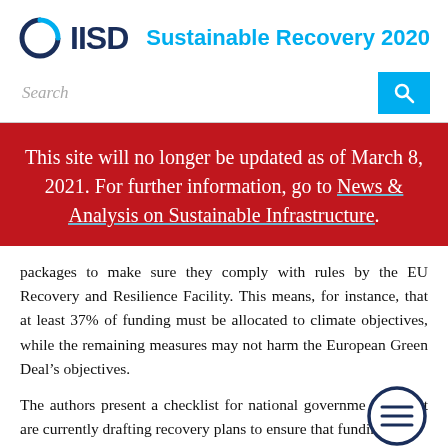IISD Sustainable Recovery 2020
Search
This site will no longer be updated as of March 8, 2021. For further information, go to News & Analysis on Sustainable Infrastructure.
packages to make sure they comply with rules by the EU Recovery and Resilience Facility. This means, for instance, that at least 37% of funding must be allocated to climate objectives, while the remaining measures may not harm the European Green Deal’s objectives.
The authors present a checklist for national governments that are currently drafting recovery plans to ensure that funding